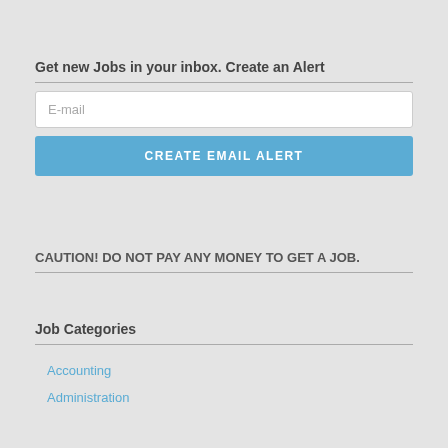Get new Jobs in your inbox. Create an Alert
E-mail
CREATE EMAIL ALERT
CAUTION! DO NOT PAY ANY MONEY TO GET A JOB.
Job Categories
Accounting
Administration